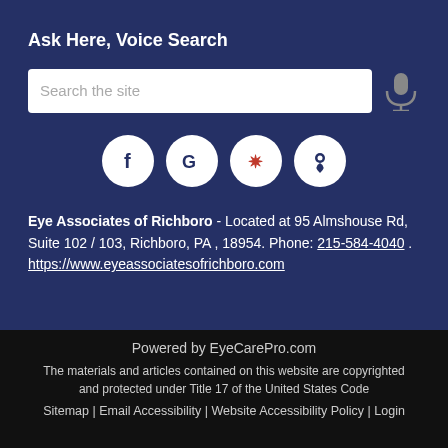Ask Here, Voice Search
Search the site
[Figure (infographic): Social media icon circles: Facebook (f), Google (G), Yelp (yelp burst), Location pin]
Eye Associates of Richboro - Located at 95 Almshouse Rd, Suite 102 / 103, Richboro, PA , 18954. Phone: 215-584-4040 . https://www.eyeassociatesofrichboro.com
Powered by EyeCarePro.com
The materials and articles contained on this website are copyrighted and protected under Title 17 of the United States Code
Sitemap | Email Accessibility | Website Accessibility Policy | Login